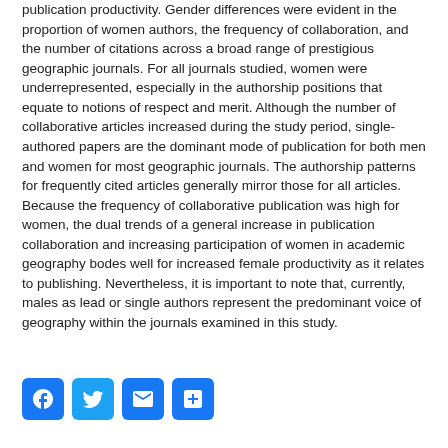publication productivity. Gender differences were evident in the proportion of women authors, the frequency of collaboration, and the number of citations across a broad range of prestigious geographic journals. For all journals studied, women were underrepresented, especially in the authorship positions that equate to notions of respect and merit. Although the number of collaborative articles increased during the study period, single-authored papers are the dominant mode of publication for both men and women for most geographic journals. The authorship patterns for frequently cited articles generally mirror those for all articles. Because the frequency of collaborative publication was high for women, the dual trends of a general increase in publication collaboration and increasing participation of women in academic geography bodes well for increased female productivity as it relates to publishing. Nevertheless, it is important to note that, currently, males as lead or single authors represent the predominant voice of geography within the journals examined in this study.
[Figure (other): Social sharing buttons: Facebook, Twitter, Email, Share]